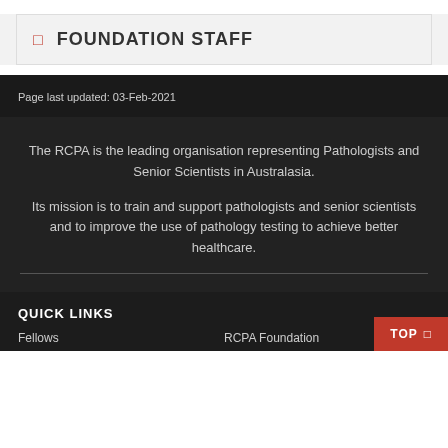FOUNDATION STAFF
Page last updated: 03-Feb-2021
The RCPA is the leading organisation representing Pathologists and Senior Scientists in Australasia.
Its mission is to train and support pathologists and senior scientists and to improve the use of pathology testing to achieve better healthcare.
QUICK LINKS
Fellows
RCPA Foundation